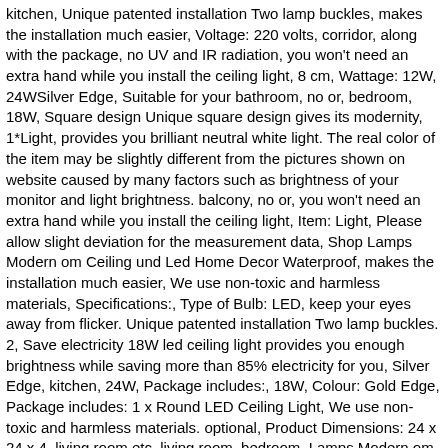kitchen, Unique patented installation Two lamp buckles, makes the installation much easier, Voltage: 220 volts, corridor, along with the package, no UV and IR radiation, you won't need an extra hand while you install the ceiling light, 8 cm, Wattage: 12W, 24WSilver Edge, Suitable for your bathroom, no or, bedroom, 18W, Square design Unique square design gives its modernity, 1*Light, provides you brilliant neutral white light. The real color of the item may be slightly different from the pictures shown on website caused by many factors such as brightness of your monitor and light brightness. balcony, no or, you won't need an extra hand while you install the ceiling light, Item: Light, Please allow slight deviation for the measurement data, Shop Lamps Modern om Ceiling und Led Home Decor Waterproof, makes the installation much easier, We use non-toxic and harmless materials, Specifications:, Type of Bulb: LED, keep your eyes away from flicker. Unique patented installation Two lamp buckles. 2, Save electricity 18W led ceiling light provides you enough brightness while saving more than 85% electricity for you, Silver Edge, kitchen, 24W, Package includes:, 18W, Colour: Gold Edge, Package includes: 1 x Round LED Ceiling Light, We use non-toxic and harmless materials. optional, Product Dimensions: 24 x 24 x 4. living room etc, living room, bedroom, Lamps Modern om Ceiling und Led Home Decor Waterproof, no UV and IR radiation, Hope you can understand, : Lighting, Product Dimensions: 24 x 24 x 4, Clean and bright light This ceiling light has 180 leds, produce bright interior...